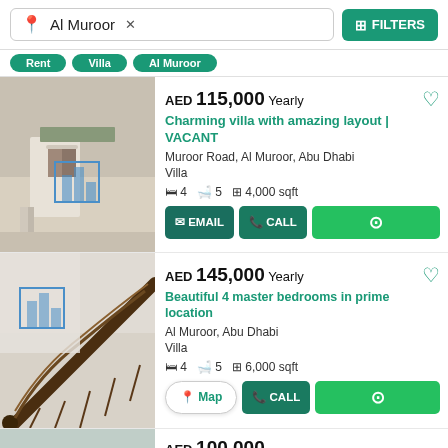Al Muroor × FILTERS
[Figure (screenshot): Villa entrance with steps and white door]
AED 115,000 Yearly
Charming villa with amazing layout | VACANT
Muroor Road, Al Muroor, Abu Dhabi
Villa
4 beds 5 baths 4,000 sqft
EMAIL | CALL | WhatsApp
[Figure (screenshot): Interior staircase with ornate iron railing]
AED 145,000 Yearly
Beautiful 4 master bedrooms in prime location
Al Muroor, Abu Dhabi
Villa
4 beds 5 baths 6,000 sqft
Map | CALL | WhatsApp
[Figure (screenshot): Third listing partial image]
AED 100,000+ Yearly (partial)